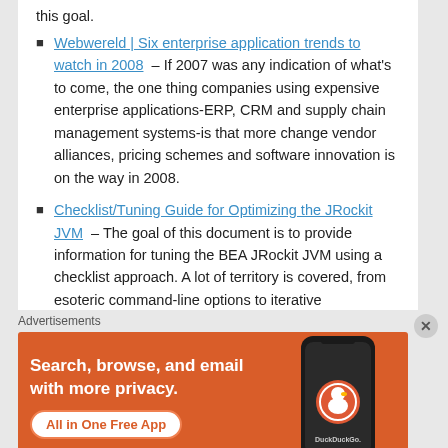this goal.
Webwereld | Six enterprise application trends to watch in 2008 – If 2007 was any indication of what's to come, the one thing companies using expensive enterprise applications-ERP, CRM and supply chain management systems-is that more change vendor alliances, pricing schemes and software innovation is on the way in 2008.
Checklist/Tuning Guide for Optimizing the JRockit JVM – The goal of this document is to provide information for tuning the BEA JRockit JVM using a checklist approach. A lot of territory is covered, from esoteric command-line options to iterative performance testing
Red Hat and Alfresco Join to Deliver an Open
Advertisements
[Figure (photo): DuckDuckGo advertisement banner: orange background with white bold text 'Search, browse, and email with more privacy.' and a white button 'All in One Free App', with a phone showing DuckDuckGo app on the right side.]